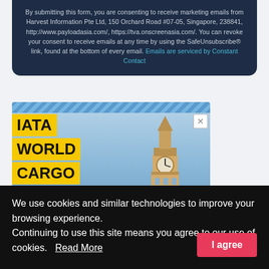By submitting this form, you are consenting to receive marketing emails from Harvest Information Pte Ltd, 150 Orchard Road #07-05, Singapore, 238841, http://www.payloadasia.com/, https://tva.onscreenasia.com/. You can revoke your consent to receive emails at any time by using the SafeUnsubscribe® link, found at the bottom of every email. Emails are serviced by Constant Contact
[Figure (infographic): IATA World Cargo Symposium advertisement banner with yellow text blocks on the left reading 'IATA WORLD CARGO SYMPOSIUM London, England' and a photo of Big Ben clock tower on the right. Diagonal striped header bar at top. Close (X) button in top right.]
We use cookies and similar technologies to improve your browsing experience.
Continuing to use this site means you agree to our use of cookies.   Read More